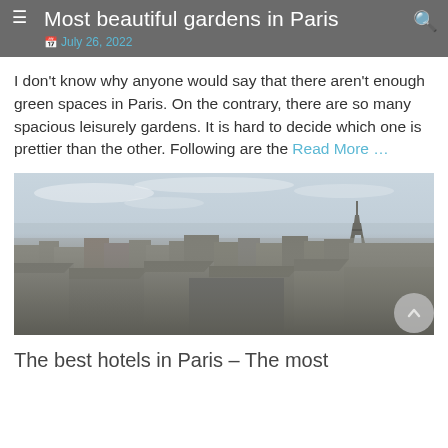Most beautiful gardens in Paris
July 26, 2022
I don't know why anyone would say that there aren't enough green spaces in Paris. On the contrary, there are so many spacious leisurely gardens. It is hard to decide which one is prettier than the other. Following are the Read More ...
[Figure (photo): Aerial panoramic view of Paris rooftops and skyline with Eiffel Tower visible in the background under a cloudy sky.]
The best hotels in Paris – The most